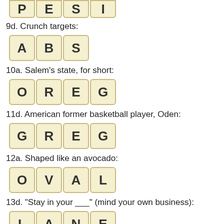[Figure (illustration): Partial word tiles showing P, E, S, I at top of page]
9d. Crunch targets:
[Figure (illustration): Word tiles spelling ABS]
10a. Salem's state, for short:
[Figure (illustration): Word tiles spelling OREG]
11d. American former basketball player, Oden:
[Figure (illustration): Word tiles spelling GREG]
12a. Shaped like an avocado:
[Figure (illustration): Word tiles spelling OVAL]
13d. "Stay in your ___" (mind your own business):
[Figure (illustration): Word tiles spelling LANE]